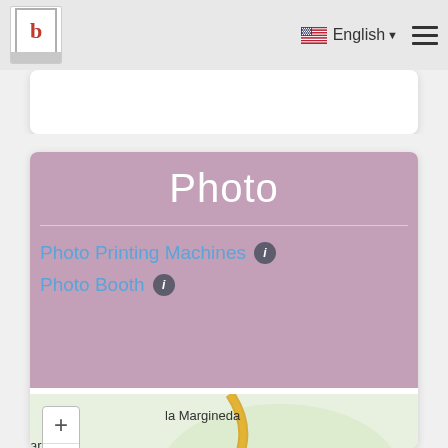b  English  ☰
Photo
Photo Printing Machines ℹ
Photo Booth ℹ
[Figure (map): Street map showing la Margineda and Aixovall area with zoom controls (+, -, fullscreen)]